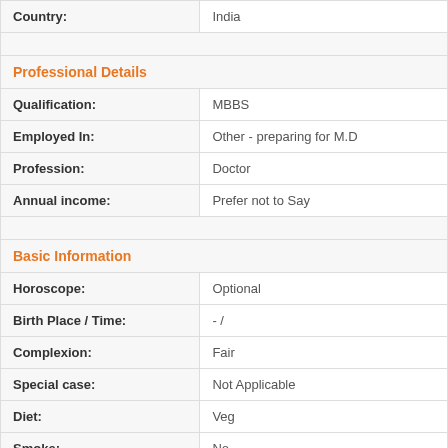| Country: | India |
| Professional Details |  |
| Qualification: | MBBS |
| Employed In: | Other - preparing for M.D |
| Profession: | Doctor |
| Annual income: | Prefer not to Say |
| Basic Information |  |
| Horoscope: | Optional |
| Birth Place / Time: | -  / |
| Complexion: | Fair |
| Special case: | Not Applicable |
| Diet: | Veg |
| Smoke: | No |
| Drink: | No |